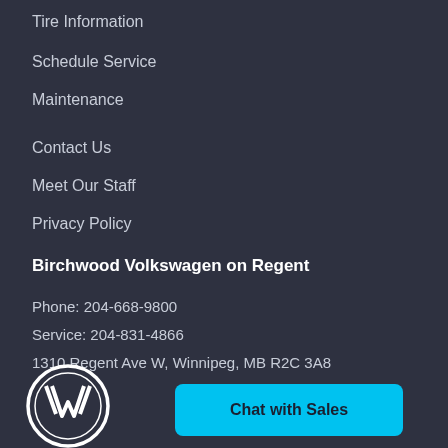Tire Information
Schedule Service
Maintenance
Contact Us
Meet Our Staff
Privacy Policy
Birchwood Volkswagen on Regent
Phone: 204-668-9800
Service: 204-831-4866
1310 Regent Ave W, Winnipeg, MB R2C 3A8
[Figure (logo): Volkswagen circular logo with VW emblem in white on dark background]
Chat with Sales